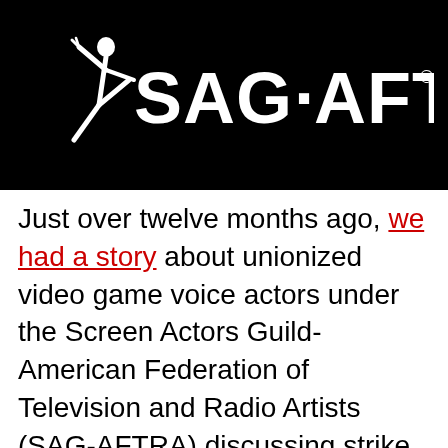[Figure (logo): SAG-AFTRA logo: white text and dancer figure on black background]
Just over twelve months ago, we had a story about unionized video game voice actors under the Screen Actors Guild-American Federation of Television and Radio Artists (SAG-AFTRA) discussing strike action against video game publishers over what